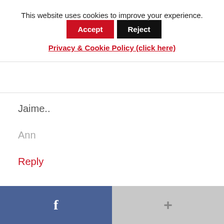This website uses cookies to improve your experience.  Accept  Reject
Privacy & Cookie Policy (click here)
Jaime..
Ann
Reply
[Figure (other): Facebook share button (blue) and Google+ button (gray) in footer bar]